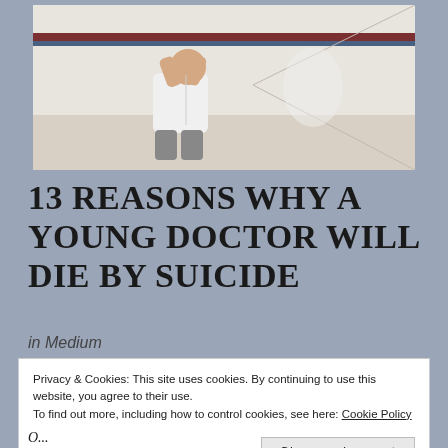[Figure (photo): A person in a white doctor's coat sitting slumped against a wall in a hospital corridor, head in hands, in distress.]
13 REASONS WHY A YOUNG DOCTOR WILL DIE BY SUICIDE
in Medium
Privacy & Cookies: This site uses cookies. By continuing to use this website, you agree to their use.
To find out more, including how to control cookies, see here: Cookie Policy
Close and accept
O...